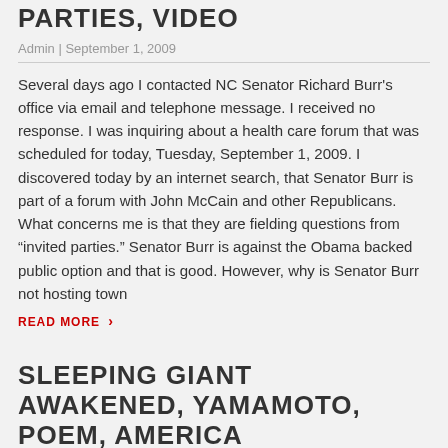PARTIES, VIDEO
Admin | September 1, 2009
Several days ago I contacted NC Senator Richard Burr's office via email and telephone message. I received no response. I was inquiring about a health care forum that was scheduled for today, Tuesday, September 1, 2009. I discovered today by an internet search, that Senator Burr is part of a forum with John McCain and other Republicans. What concerns me is that they are fielding questions from “invited parties.” Senator Burr is against the Obama backed public option and that is good. However, why is Senator Burr not hosting town
READ MORE ›
SLEEPING GIANT AWAKENED, YAMAMOTO, POEM, AMERICA AWAKENED, TOWN HALLS, TEA PARTIES, CITIZENS OUTRAGED
Admin | September 1, 2009